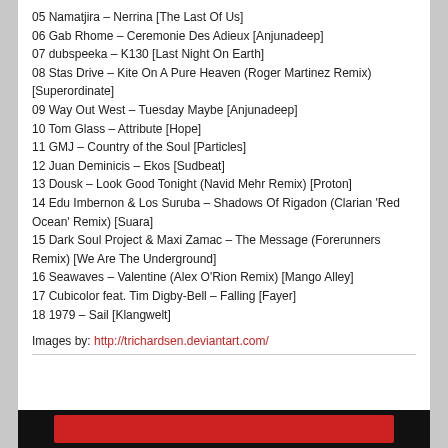05 Namatjira – Nerrina [The Last Of Us]
06 Gab Rhome – Ceremonie Des Adieux [Anjunadeep]
07 dubspeeka – K130 [Last Night On Earth]
08 Stas Drive – Kite On A Pure Heaven (Roger Martinez Remix) [Superordinate]
09 Way Out West – Tuesday Maybe [Anjunadeep]
10 Tom Glass – Attribute [Hope]
11 GMJ – Country of the Soul [Particles]
12 Juan Deminicis – Ekos [Sudbeat]
13 Dousk – Look Good Tonight (Navid Mehr Remix) [Proton]
14 Edu Imbernon & Los Suruba – Shadows Of Rigadon (Clarian 'Red Ocean' Remix) [Suara]
15 Dark Soul Project & Maxi Zamac – The Message (Forerunners Remix) [We Are The Underground]
16 Seawaves – Valentine (Alex O'Rion Remix) [Mango Alley]
17 Cubicolor feat. Tim Digby-Bell – Falling [Fayer]
18 1979 – Sail [Klangwelt]
Images by: http://trichardsen.deviantart.com/